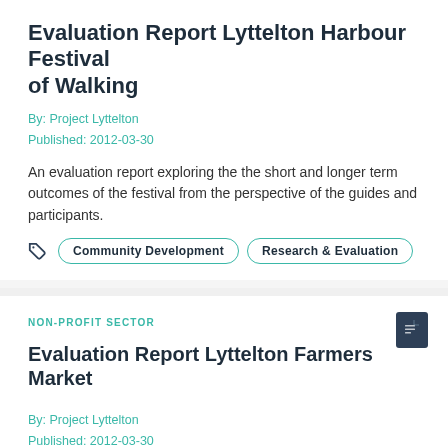Evaluation Report Lyttelton Harbour Festival of Walking
By: Project Lyttelton
Published: 2012-03-30
An evaluation report exploring the the short and longer term outcomes of the festival from the perspective of the guides and participants.
Community Development
Research & Evaluation
NON-PROFIT SECTOR
Evaluation Report Lyttelton Farmers Market
By: Project Lyttelton
Published: 2012-03-30